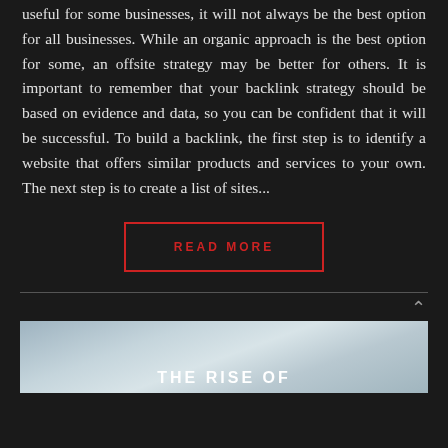useful for some businesses, it will not always be the best option for all businesses. While an organic approach is the best option for some, an offsite strategy may be better for others. It is important to remember that your backlink strategy should be based on evidence and data, so you can be confident that it will be successful. To build a backlink, the first step is to identify a website that offers similar products and services to your own. The next step is to create a list of sites...
READ MORE
[Figure (illustration): A sky/clouds background image with 'THE RISE OF' text overlay at the bottom]